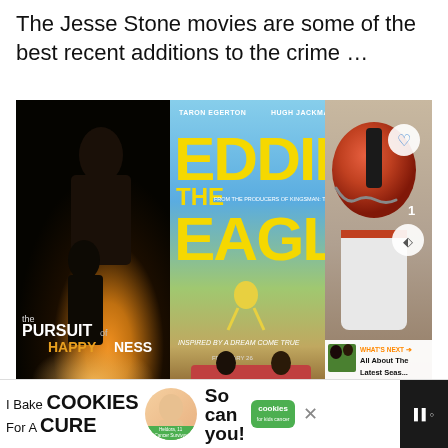The Jesse Stone movies are some of the best recent additions to the crime …
[Figure (photo): Composite image of three movie posters/thumbnails: 'The Pursuit of Happyness', 'Eddie the Eagle', and a football player. Includes a 'What's Next' overlay and social media interaction buttons (heart, share with count 1).]
[Figure (infographic): Advertisement banner: 'I Bake COOKIES For A CURE' with a woman photo labeled 'Heldora, 11 Cancer Survivor', text 'So can you!' and a green 'cookies for kids cancer' logo, with an X close button. Dark panel on far right.]